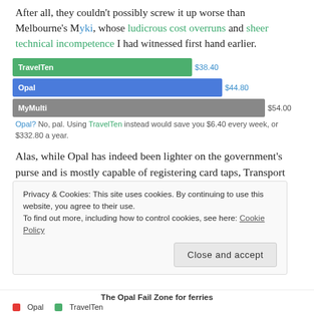After all, they couldn't possibly screw it up worse than Melbourne's Myki, whose ludicrous cost overruns and sheer technical incompetence I had witnessed first hand earlier.
[Figure (bar-chart): Weekly ticket cost comparison]
Opal? No, pal. Using TravelTen instead would save you $6.40 every week, or $332.80 a year.
Alas, while Opal has indeed been lighter on the government's purse and is mostly capable of registering card taps, Transport for NSW still managed to completely stuff up something that Melbourne didn't: the fare structure. For many users including me, Opal is much more
Privacy & Cookies: This site uses cookies. By continuing to use this website, you agree to their use.
To find out more, including how to control cookies, see here: Cookie Policy
Close and accept
The Opal Fail Zone for ferries
Opal   TravelTen